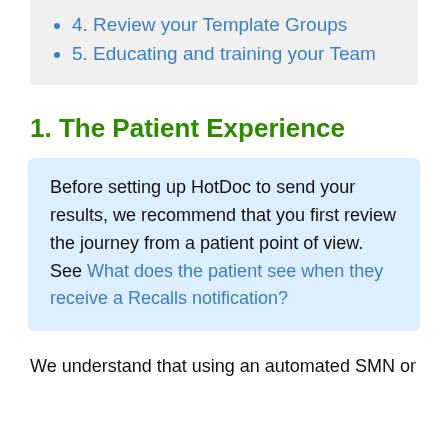4. Review your Template Groups
5. Educating and training your Team
1. The Patient Experience
Before setting up HotDoc to send your results, we recommend that you first review the journey from a patient point of view. See What does the patient see when they receive a Recalls notification?
We understand that using an automated SMN or